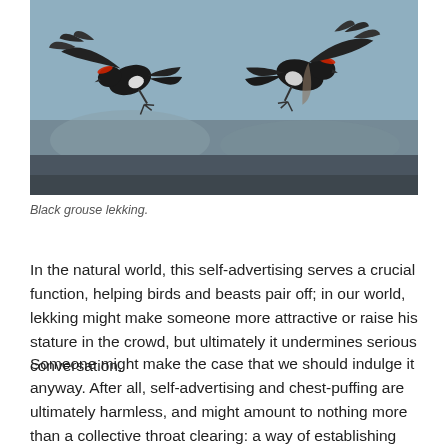[Figure (photo): Two black grouse birds in flight/lekking display, wings spread, dark feathers with white markings, blurred natural background]
Black grouse lekking.
In the natural world, this self-advertising serves a crucial function, helping birds and beasts pair off; in our world, lekking might make someone more attractive or raise his stature in the crowd, but ultimately it undermines serious conversation.
Someone might make the case that we should indulge it anyway. After all, self-advertising and chest-puffing are ultimately harmless, and might amount to nothing more than a collective throat clearing: a way of establishing the space of conversation and identifying or qualifying its participants. But even if we concede that it accomplishes that much, lekking